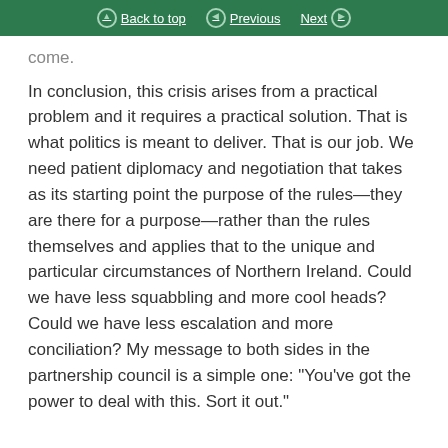Back to top | Previous | Next
come.
In conclusion, this crisis arises from a practical problem and it requires a practical solution. That is what politics is meant to deliver. That is our job. We need patient diplomacy and negotiation that takes as its starting point the purpose of the rules—they are there for a purpose—rather than the rules themselves and applies that to the unique and particular circumstances of Northern Ireland. Could we have less squabbling and more cool heads? Could we have less escalation and more conciliation? My message to both sides in the partnership council is a simple one: “You’ve got the power to deal with this. Sort it out.”